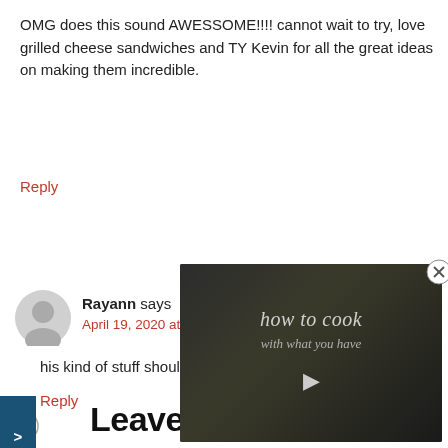OMG does this sound AWESSOME!!!! cannot wait to try, love grilled cheese sandwiches and TY Kevin for all the great ideas on making them incredible.
Reply
Rayann says
April 19, 2020 at 5:15 pm
his kind of stuff should be against the law! 😋
Reply
[Figure (screenshot): Video overlay thumbnail showing text 'how to cook with what you have' with a play button, dark background]
Leave a Reply